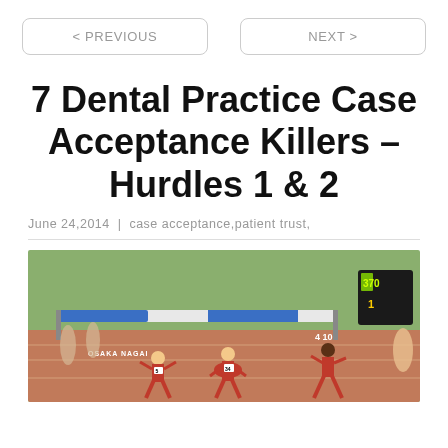< PREVIOUS    NEXT >
7 Dental Practice Case Acceptance Killers – Hurdles 1 & 2
June 24,2014 | case acceptance,patient trust,
[Figure (photo): Athletes running hurdles on a track. A hurdle bar labeled OSAKA NAGAI is visible. Runners in red uniforms numbered 34 and 5 are visible, along with a runner numbered 4 and a scoreboard in the background.]